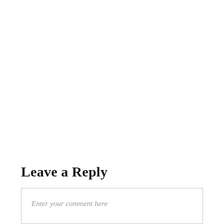Leave a Reply
Enter your comment here